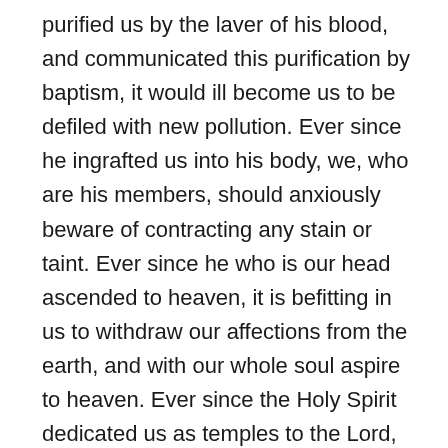purified us by the laver of his blood, and communicated this purification by baptism, it would ill become us to be defiled with new pollution. Ever since he ingrafted us into his body, we, who are his members, should anxiously beware of contracting any stain or taint. Ever since he who is our head ascended to heaven, it is befitting in us to withdraw our affections from the earth, and with our whole soul aspire to heaven. Ever since the Holy Spirit dedicated us as temples to the Lord, we should make it our endeavour to show forth the glory of God, and guard against being profaned by the defilement of sin. Ever since our soul and body were destined to heavenly incorruptibility and an unfading crown, we should earnestly strive to keep them pure and uncorrupted against the day of the Lord. These, I say, are the surest foundations of a well-regulated life, and you will search in vain for any thing